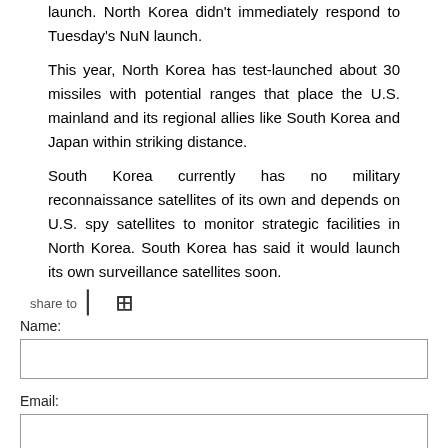launch. North Korea didn't immediately respond to Tuesday's NuN launch.
This year, North Korea has test-launched about 30 missiles with potential ranges that place the U.S. mainland and its regional allies like South Korea and Japan within striking distance.
South Korea currently has no military reconnaissance satellites of its own and depends on U.S. spy satellites to monitor strategic facilities in North Korea. South Korea has said it would launch its own surveillance satellites soon.
share to
Name:
Email:
* Comment: